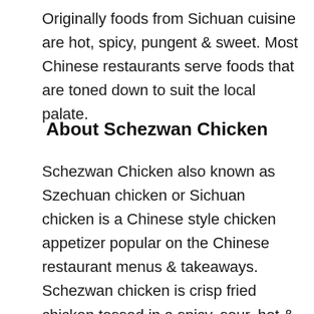Originally foods from Sichuan cuisine are hot, spicy, pungent & sweet. Most Chinese restaurants serve foods that are toned down to suit the local palate.
About Schezwan Chicken
Schezwan Chicken also known as Szechuan chicken or Sichuan chicken is a Chinese style chicken appetizer popular on the Chinese restaurant menus & takeaways. Schezwan chicken is crisp fried chicken tossed in a spicy, sour, hot & tongue tickling Sichuan sauce.